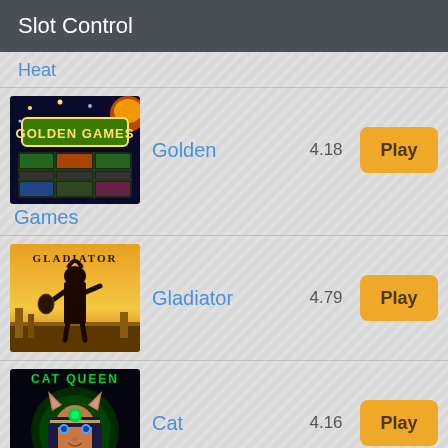Slot Control
Heat
[Figure (screenshot): Golden Games slot machine game thumbnail showing casino game interface with golden text logo]
Golden Games
4.18
Play
[Figure (screenshot): Gladiator slot machine game thumbnail showing gladiator warrior silhouette against orange sky]
Gladiator
4.79
Play
[Figure (screenshot): Cat Queen slot machine game thumbnail showing Egyptian queen with cat ears and green gem crown]
Cat Queen
4.16
Play